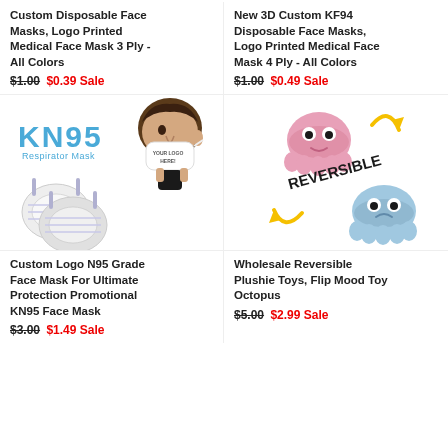Custom Disposable Face Masks, Logo Printed Medical Face Mask 3 Ply - All Colors
$1.00 $0.39 Sale
New 3D Custom KF94 Disposable Face Masks, Logo Printed Medical Face Mask 4 Ply - All Colors
$1.00 $0.49 Sale
[Figure (photo): KN95 Respirator Mask product image with two white N95-style masks and a man wearing a mask with 'YOUR LOGO HERE!' text]
[Figure (photo): Wholesale Reversible Plushie Toys with pink and blue octopus plushies and 'REVERSIBLE' text with yellow arrows]
Custom Logo N95 Grade Face Mask For Ultimate Protection Promotional KN95 Face Mask
$3.00 $1.49 Sale
Wholesale Reversible Plushie Toys, Flip Mood Toy Octopus
$5.00 $2.99 Sale